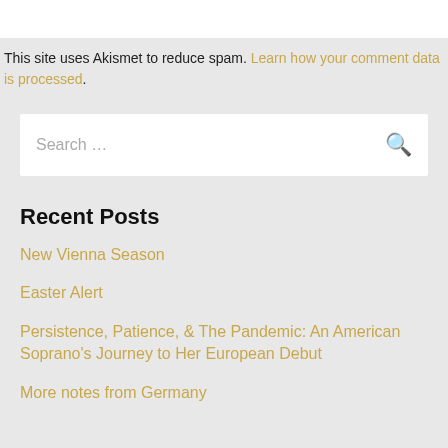This site uses Akismet to reduce spam. Learn how your comment data is processed.
Search ...
Recent Posts
New Vienna Season
Easter Alert
Persistence, Patience, & The Pandemic: An American Soprano's Journey to Her European Debut
More notes from Germany